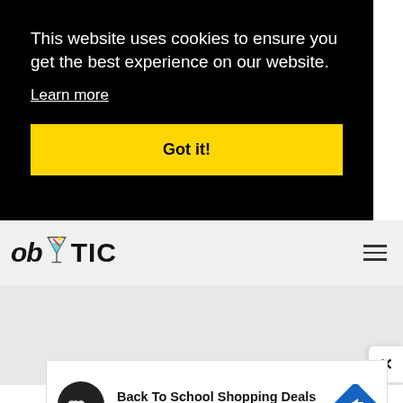This website uses cookies to ensure you get the best experience on our website.
Learn more
Got it!
[Figure (logo): obYTIC logo with cocktail glass icon between 'ob' and 'TIC']
[Figure (other): Hamburger menu icon (three horizontal lines)]
[Figure (screenshot): Advertisement panel: Back To School Shopping Deals, Leesburg Premium Outlets, with circular logo and blue diamond direction icon]